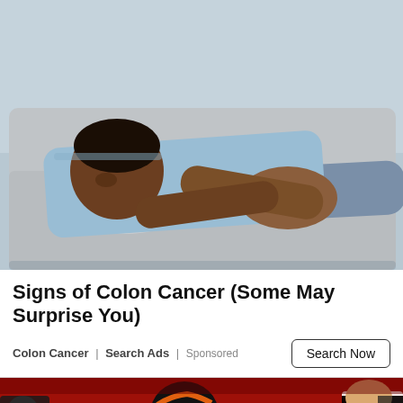[Figure (photo): A man lying on a grey couch holding his stomach in pain, wearing a light blue shirt and jeans]
Signs of Colon Cancer (Some May Surprise You)
Colon Cancer | Search Ads | Sponsored
[Figure (photo): A Cincinnati Bengals football player in white uniform with tiger-stripe helmet running on a red field, with referees visible in the background]